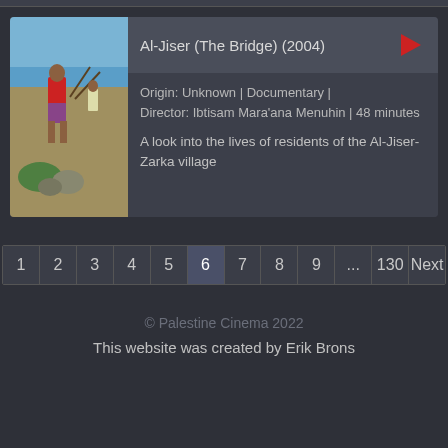[Figure (screenshot): Website card showing a film listing for Al-Jiser (The Bridge) (2004) with a thumbnail photo of a person standing on a beach with fishing equipment]
Al-Jiser (The Bridge) (2004)
Origin: Unknown | Documentary | Director: Ibtisam Mara'ana Menuhin | 48 minutes
A look into the lives of residents of the Al-Jiser-Zarka village
1
2
3
4
5
6
7
8
9
...
130
Next
© Palestine Cinema 2022
This website was created by Erik Brons